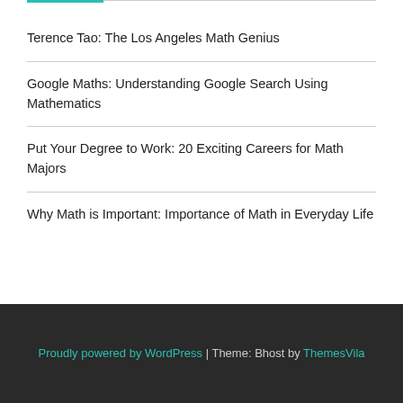Terence Tao: The Los Angeles Math Genius
Google Maths: Understanding Google Search Using Mathematics
Put Your Degree to Work: 20 Exciting Careers for Math Majors
Why Math is Important: Importance of Math in Everyday Life
Proudly powered by WordPress | Theme: Bhost by ThemesVila